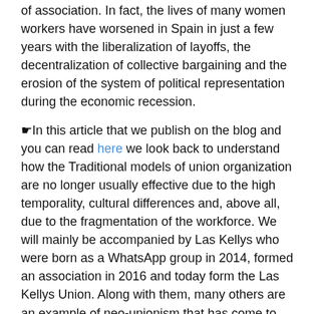of association. In fact, the lives of many women workers have worsened in Spain in just a few years with the liberalization of layoffs, the decentralization of collective bargaining and the erosion of the system of political representation during the economic recession.
☛In this article that we publish on the blog and you can read here we look back to understand how the Traditional models of union organization are no longer usually effective due to the high temporality, cultural differences and, above all, due to the fragmentation of the workforce. We will mainly be accompanied by Las Kellys who were born as a WhatsApp group in 2014, formed an association in 2016 and today form the Las Kellys Union. Along with them, many others are an example of neo-unionism that has come to stay.
See you in 15 days! 😉
Up to here we arrive. We hope that this newsletter has encouraged you to continue walking towards the society of